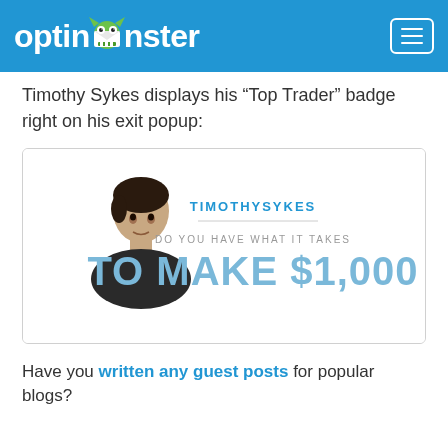optinmonster
Timothy Sykes displays his “Top Trader” badge right on his exit popup:
[Figure (screenshot): Screenshot of Timothy Sykes exit popup showing his photo on the left with text 'TIMOTHYSYKES', 'DO YOU HAVE WHAT IT TAKES', 'TO MAKE $1,000' on the right]
Have you written any guest posts for popular blogs?